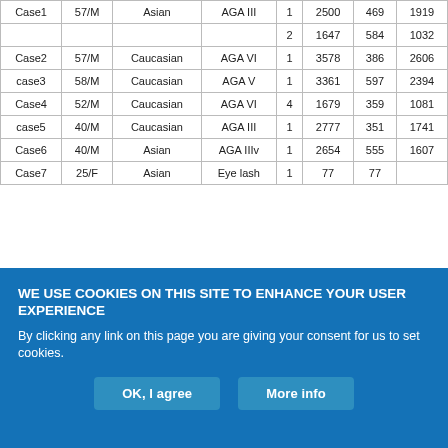| Case1 | 57/M | Asian | AGA III | 1 | 2500 | 469 | 1919 |
|  |  |  |  | 2 | 1647 | 584 | 1032 |
| Case2 | 57/M | Caucasian | AGA VI | 1 | 3578 | 386 | 2606 |
| case3 | 58/M | Caucasian | AGA V | 1 | 3361 | 597 | 2394 |
| Case4 | 52/M | Caucasian | AGA VI | 4 | 1679 | 359 | 1081 |
| case5 | 40/M | Caucasian | AGA III | 1 | 2777 | 351 | 1741 |
| Case6 | 40/M | Asian | AGA IIIv | 1 | 2654 | 555 | 1607 |
| Case7 | 25/F | Asian | Eye lash | 1 | 77 | 77 |  |
WE USE COOKIES ON THIS SITE TO ENHANCE YOUR USER EXPERIENCE
By clicking any link on this page you are giving your consent for us to set cookies.